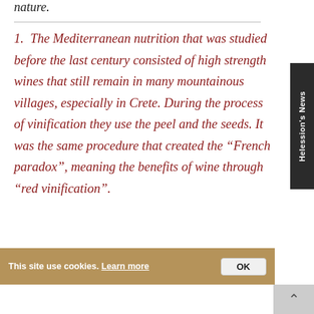nature.
1. The Mediterranean nutrition that was studied before the last century consisted of high strength wines that still remain in many mountainous villages, especially in Crete. During the process of vinification they use the peel and the seeds. It was the same procedure that created the “French paradox”, meaning the benefits of wine through “red vinification”.
This site use cookies. Learn more